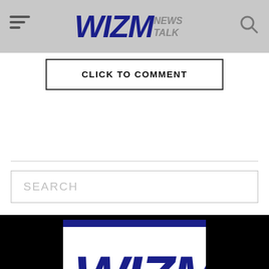WIZM NEWS TALK
CLICK TO COMMENT
SEARCH
[Figure (logo): WIZM News Talk logo — large format with WIZM in dark blue on white background, dark blue stripe divider, NEWS TALK in white on red background]